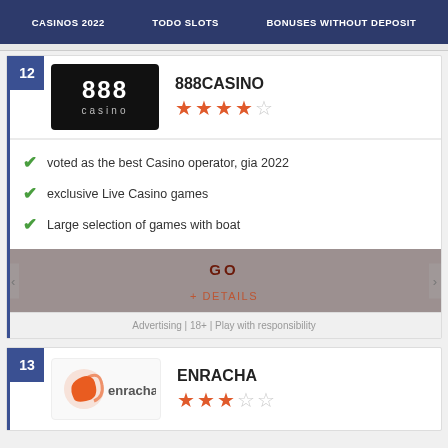CASINOS 2022 | TODO SLOTS | BONUSES WITHOUT DEPOSIT
888CASINO
★★★★☆
voted as the best Casino operator, gia 2022
exclusive Live Casino games
Large selection of games with boat
GO
+ DETAILS
Advertising | 18+ | Play with responsibility
ENRACHA
★★★☆☆